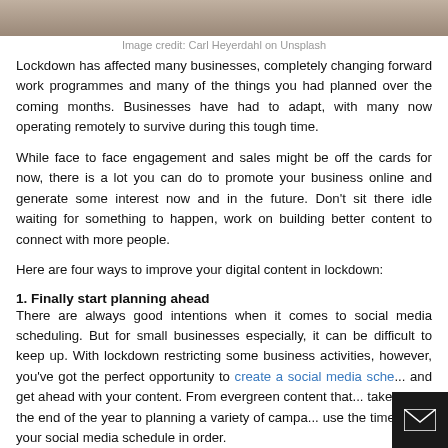[Figure (photo): Partial view of a photo showing a desk/office scene, cropped at the top of the page]
Image credit: Carl Heyerdahl on Unsplash
Lockdown has affected many businesses, completely changing forward work programmes and many of the things you had planned over the coming months. Businesses have had to adapt, with many now operating remotely to survive during this tough time.
While face to face engagement and sales might be off the cards for now, there is a lot you can do to promote your business online and generate some interest now and in the future. Don't sit there idle waiting for something to happen, work on building better content to connect with more people.
Here are four ways to improve your digital content in lockdown:
1. Finally start planning ahead
There are always good intentions when it comes to social media scheduling. But for small businesses especially, it can be difficult to keep up. With lockdown restricting some business activities, however, you've got the perfect opportunity to create a social media sche... and get ahead with your content. From evergreen content that... take you to the end of the year to planning a variety of campa... use the time to get your social media schedule in order.